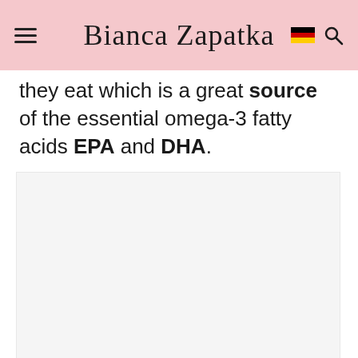Bianca Zapatka
they eat which is a great source of the essential omega-3 fatty acids EPA and DHA.
[Figure (photo): Large light gray placeholder image area below the text content]